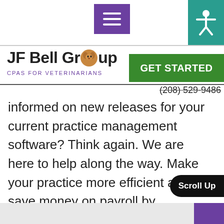JF Bell Group — CPAs for Veterinarians — Navigation bar with hamburger menu and accessibility icon
[Figure (logo): JF Bell Group logo with dog icon and tagline CPAS FOR VETERINARIANS]
GET STARTED
(208) 529-9486
informed on new releases for your current practice management software? Think again. We are here to help along the way. Make your practice more efficient and save money on payroll by improving your workflow. Ready to give it a try? Call or email us today.